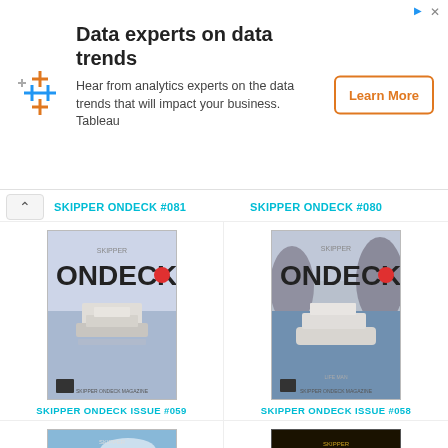[Figure (other): Advertisement banner: Tableau logo with colored cross marks. Title: Data experts on data trends. Body: Hear from analytics experts on the data trends that will impact your business. Tableau. Button: Learn More]
SKIPPER ONDECK #081
SKIPPER ONDECK #080
[Figure (illustration): Magazine cover: Skipper ONDECK issue #059 showing a yacht from the stern viewed from behind on calm water]
[Figure (illustration): Magazine cover: Skipper ONDECK issue #058 showing a yacht near rocky cliffs]
SKIPPER ONDECK ISSUE #059
SKIPPER ONDECK ISSUE #058
[Figure (illustration): Magazine cover: Skipper ONDECK showing a yacht on blue sky water]
[Figure (illustration): Magazine cover: Skipper ONDECK dark/gold edition]